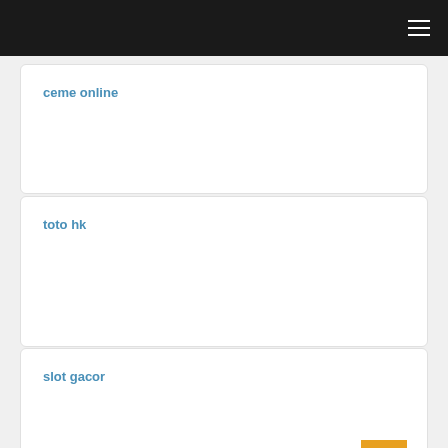ceme online
toto hk
slot gacor